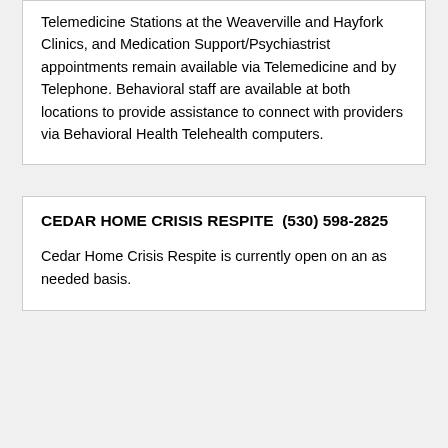Telemedicine Stations at the Weaverville and Hayfork Clinics, and Medication Support/Psychiastrist appointments remain available via Telemedicine and by Telephone. Behavioral staff are available at both locations to provide assistance to connect with providers via Behavioral Health Telehealth computers.
CEDAR HOME CRISIS RESPITE  (530) 598-2825
Cedar Home Crisis Respite is currently open on an as needed basis.